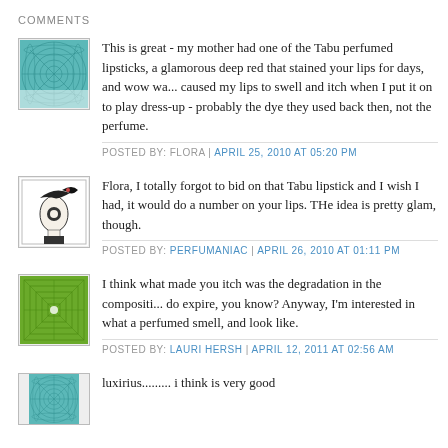COMMENTS
[Figure (illustration): Teal/cyan circular geometric pattern avatar]
This is great - my mother had one of the Tabu perfumed lipsticks, a glamorous deep red that stained your lips for days, and wow was it It caused my lips to swell and itch when I put it on to play dress-up - probably the dye they used back then, not the perfume.
POSTED BY: FLORA | APRIL 25, 2010 AT 05:20 PM
[Figure (illustration): Black and white illustration of a woman's face with bird]
Flora, I totally forgot to bid on that Tabu lipstick and I wish I had, it would do a number on your lips. THe idea is pretty glam, though.
POSTED BY: PERFUMANIAC | APRIL 26, 2010 AT 01:11 PM
[Figure (illustration): Green geometric square pattern avatar]
I think what made you itch was the degradation in the composition - do expire, you know? Anyway, I'm interested in what a perfumed smell, and look like.
POSTED BY: LAURI HERSH | APRIL 12, 2011 AT 02:56 AM
[Figure (illustration): Teal/cyan circular geometric pattern avatar]
luxirius......... i think is very good